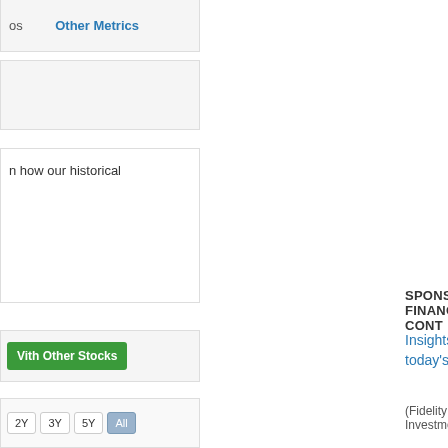os   Other Metrics
n how our historical
Vith Other Stocks
2Y   3Y   5Y   All
SPONSORED FINANCIAL CONT
Insights on delivering more va in today's financial landscape
(Fidelity Investments)